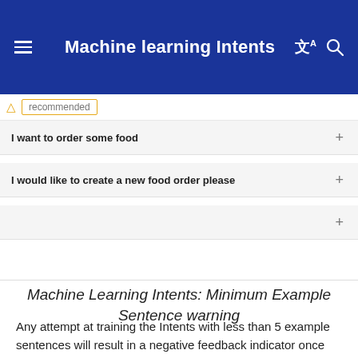Machine learning Intents
[Figure (screenshot): A screenshot of a machine learning intents UI showing a warning input row with orange triangle warning icon and 'recommended' text in an orange-bordered box, followed by two intent rows: 'I want to order some food' and 'I would like to create a new food order please', each with a + button on the right, and an empty row at the bottom with a + button.]
Machine Learning Intents: Minimum Example Sentence warning
Any attempt at training the Intents with less than 5 example sentences will result in a negative feedback indicator once the build completes.